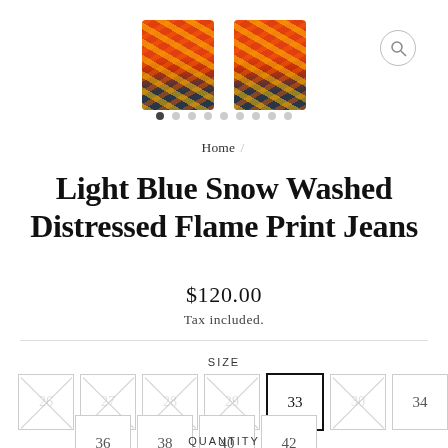[Figure (photo): Two shoe product thumbnails shown from above, both with flame/red-orange print design on dark base, against white background. A search/magnify icon is visible to the right.]
• (carousel dots pagination: 9 dots, first filled)
Home /
Light Blue Snow Washed Distressed Flame Print Jeans
$120.00
Tax included.
SIZE
Size options: 26 (crossed), 27 (crossed), 28 (crossed), 29 (crossed), 33 (selected), 30 (crossed), 34, 36, 38, 40, 42
QUANTITY